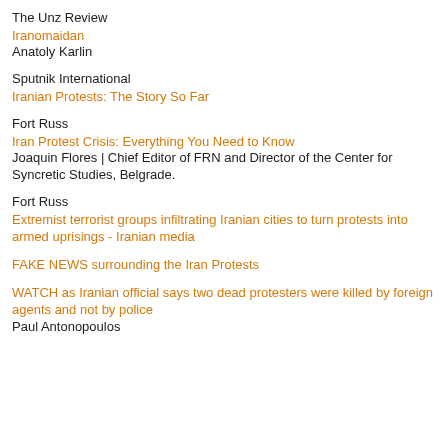The Unz Review
Iranomaidan
Anatoly Karlin
Sputnik International
Iranian Protests: The Story So Far
Fort Russ
Iran Protest Crisis: Everything You Need to Know
Joaquin Flores | Chief Editor of FRN and Director of the Center for Syncretic Studies, Belgrade.
Fort Russ
Extremist terrorist groups infiltrating Iranian cities to turn protests into armed uprisings - Iranian media
FAKE NEWS surrounding the Iran Protests
WATCH as Iranian official says two dead protesters were killed by foreign agents and not by police
Paul Antonopoulos